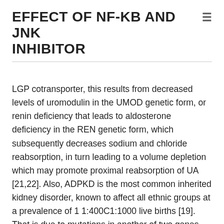EFFECT OF NF-KB AND JNK INHIBITOR
LGP cotransporter, this results from decreased levels of uromodulin in the UMOD genetic form, or renin deficiency that leads to aldosterone deficiency in the REN genetic form, which subsequently decreases sodium and chloride reabsorption, in turn leading to a volume depletion which may promote proximal reabsorption of UA [21,22]. Also, ADPKD is the most common inherited kidney disorder, known to affect all ethnic groups at a prevalence of 1 1:400C1:1000 live births [19]. That is due to mutations in another of two genes, PKD1 (chromosome area 16p13.3; 85% of situations) and PKD2